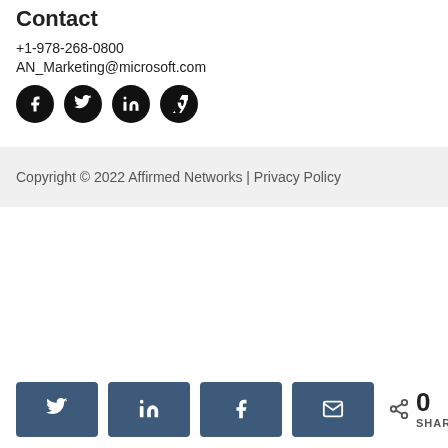Contact
+1-978-268-0800
AN_Marketing@microsoft.com
[Figure (other): Social media icon buttons: Facebook, Twitter, LinkedIn, Vimeo]
Copyright © 2022 Affirmed Networks | Privacy Policy
[Figure (other): Share bar with Twitter, LinkedIn, Facebook, Email share buttons and 0 SHARES count]